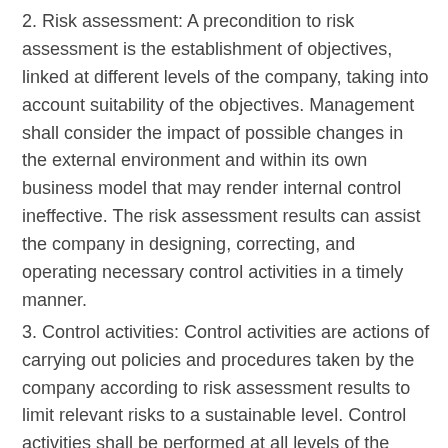2. Risk assessment: A precondition to risk assessment is the establishment of objectives, linked at different levels of the company, taking into account suitability of the objectives. Management shall consider the impact of possible changes in the external environment and within its own business model that may render internal control ineffective. The risk assessment results can assist the company in designing, correcting, and operating necessary control activities in a timely manner.
3. Control activities: Control activities are actions of carrying out policies and procedures taken by the company according to risk assessment results to limit relevant risks to a sustainable level. Control activities shall be performed at all levels of the company, at various stages within business processes, and over the technology environment, and shall include supervision and management of subsidiaries.
4. Information and communications: Information and the company obtains, generates, or uses communication mean the relevant and quality information from both internal and